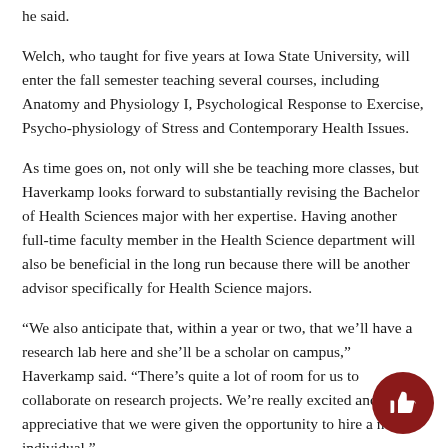he said.
Welch, who taught for five years at Iowa State University, will enter the fall semester teaching several courses, including Anatomy and Physiology I, Psychological Response to Exercise, Psycho-physiology of Stress and Contemporary Health Issues.
As time goes on, not only will she be teaching more classes, but Haverkamp looks forward to substantially revising the Bachelor of Health Sciences major with her expertise. Having another full-time faculty member in the Health Science department will also be beneficial in the long run because there will be another advisor specifically for Health Science majors.
“We also anticipate that, within a year or two, that we’ll have a research lab here and she’ll be a scholar on campus,” Haverkamp said. “There’s quite a lot of room for us to collaborate on research projects. We’re really excited and really appreciative that we were given the opportunity to hire a new individual.”
Department Chair and Professor of Humanities Fred Wiseman is eq…
rateful for the opportunity to hire a new full-time faculty member…